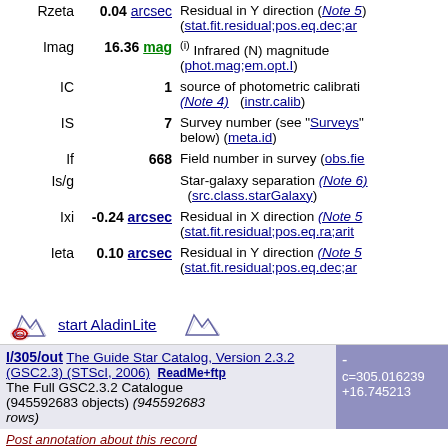| Name | Value | Description |
| --- | --- | --- |
| Rzeta | 0.04 arcsec | Residual in Y direction (Note 5) (stat.fit.residual;pos.eq.dec;ar… |
| Imag | 16.36 mag | (i) Infrared (N) magnitude (phot.mag;em.opt.I) |
| IC | 1 | source of photometric calibration (Note 4) (instr.calib) |
| IS | 7 | Survey number (see "Surveys" below) (meta.id) |
| If | 668 | Field number in survey (obs.fie… |
| Is/g |  | Star-galaxy separation (Note 6) (src.class.starGalaxy) |
| Ixi | -0.24 arcsec | Residual in X direction (Note 5) (stat.fit.residual;pos.eq.ra;arit… |
| Ieta | 0.10 arcsec | Residual in Y direction (Note 5) (stat.fit.residual;pos.eq.dec;ar… |
[Figure (logo): Aladin sky atlas logo and icon]
start AladinLite
I/305/out The Guide Star Catalog, Version 2.3.2 (GSC2.3)(STScI, 2006) ReadMe+ftp The Full GSC2.3.2 Catalogue (945592683 objects) (945592683 rows)
- c=305.016239 +16.745213
Post annotation about this record